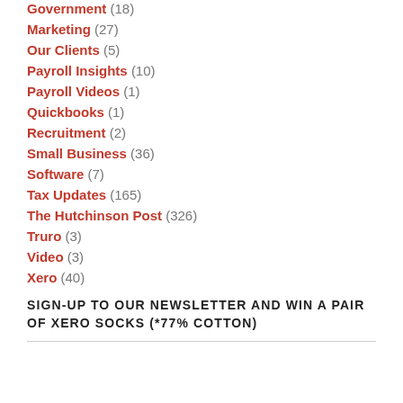Government (18)
Marketing (27)
Our Clients (5)
Payroll Insights (10)
Payroll Videos (1)
Quickbooks (1)
Recruitment (2)
Small Business (36)
Software (7)
Tax Updates (165)
The Hutchinson Post (326)
Truro (3)
Video (3)
Xero (40)
SIGN-UP TO OUR NEWSLETTER AND WIN A PAIR OF XERO SOCKS (*77% COTTON)